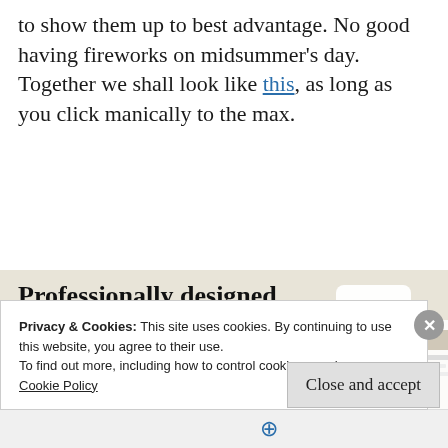to show them up to best advantage. No good having fireworks on midsummer’s day. Together we shall look like this, as long as you click manically to the max.
[Figure (infographic): Advertisement banner with cream/beige background showing text 'Professionally designed sites in less than a week' with a green 'Explore options' button and website design screenshots on the right side.]
Privacy & Cookies: This site uses cookies. By continuing to use this website, you agree to their use.
To find out more, including how to control cookies, see here:
Cookie Policy
Close and accept